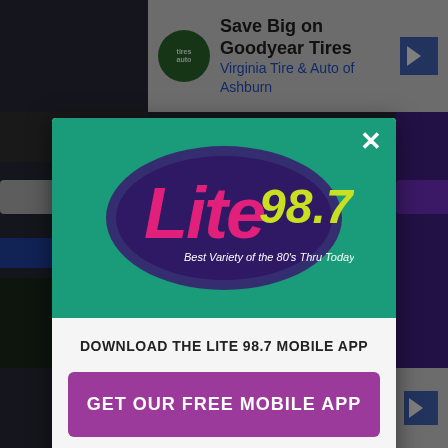[Figure (screenshot): Top advertisement banner: Save Big on Goodyear Tires, Virginia Tire & Auto of Ashburn]
[Figure (logo): Lite 98.7 radio station logo with purple brush stroke background, tagline: Best Variety of the 80's Thru Today]
DOWNLOAD THE LITE 98.7 MOBILE APP
GET OUR FREE MOBILE APP
Also listen on: amazon alexa
[Figure (screenshot): Bottom advertisement banner: Up To $75 Off Goodyear Tires, VirginiaTire & Auto of Ashburn Fa.]